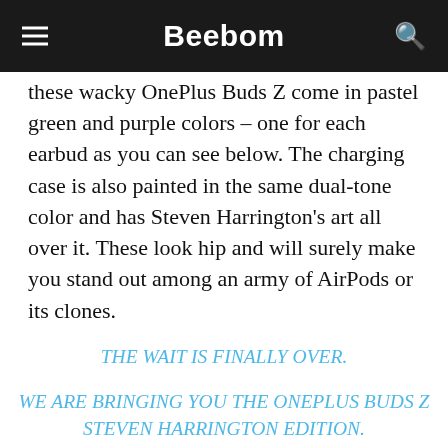Beebom
these wacky OnePlus Buds Z come in pastel green and purple colors – one for each earbud as you can see below. The charging case is also painted in the same dual-tone color and has Steven Harrington's art all over it. These look hip and will surely make you stand out among an army of AirPods or its clones.
THE WAIT IS FINALLY OVER.
WE ARE BRINGING YOU THE ONEPLUS BUDS Z STEVEN HARRINGTON EDITION.
GREAT MUSIC COMES WITH STUNNING LOOKS.#ONEPLUSBUDSZ